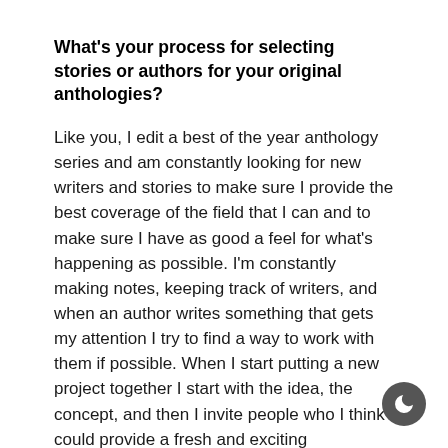What's your process for selecting stories or authors for your original anthologies?
Like you, I edit a best of the year anthology series and am constantly looking for new writers and stories to make sure I provide the best coverage of the field that I can and to make sure I have as good a feel for what's happening as possible. I'm constantly making notes, keeping track of writers, and when an author writes something that gets my attention I try to find a way to work with them if possible. When I start putting a new project together I start with the idea, the concept, and then I invite people who I think could provide a fresh and exciting perspective, while also working with some of my favorites. I wish I had the resources